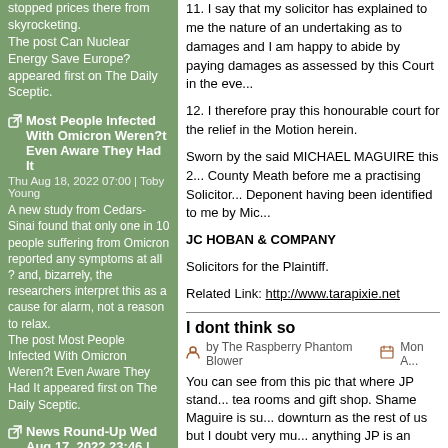stopped prices there from skyrocketing.
The post Can Nuclear Energy Save Europe? appeared first on The Daily Sceptic.
Most People Infected With Omicron Weren?t Even Aware They Had It
Thu Aug 18, 2022 07:00 | Toby Young
A new study from Cedars-Sinai found that only one in 10 people suffering from Omicron reported any symptoms at all ? and, bizarrely, the researchers interpret this as a cause for alarm, not a reason to relax.
The post Most People Infected With Omicron Weren?t Even Aware They Had It appeared first on The Daily Sceptic.
News Round-Up Wed Aug 17, 2022 23:46 | Jonathan Barr
11. I say that my solicitor has explained to me the nature of an undertaking as to damages and I am happy to abide by paying damages as assessed by this Court in the eve...
12. I therefore pray this honourable court for the relief in the Motion herein.
Sworn by the said MICHAEL MAGUIRE this 2... County Meath before me a practising Solicitor... Deponent having been identified to me by Mic...
JC HOBAN & COMPANY
Solicitors for the Plaintiff.
Related Link: http://www.tarapixie.net
I dont think so
by The Raspberry Phantom Blower   Mon A...
You can see from this pic that where JP stand... tea rooms and gift shop. Shame Maguire is su... downturn as the rest of us but I doubt very mu... anything JP is an attraction and one can see h... the Fianna and the High Kings every day as w... M3 works.